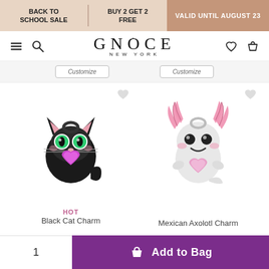BACK TO SCHOOL SALE | BUY 2 GET 2 FREE | VALID UNTIL AUGUST 23
[Figure (logo): GNOCE NEW YORK logo in serif font with navigation icons (hamburger menu, search, heart, bag)]
Customize   Customize
[Figure (photo): Black Cat Charm - a silver/black charm shaped like a black cat with green gem eyes and a pink/magenta heart-shaped gem]
[Figure (photo): Mexican Axolotl Charm - a silver charm shaped like an axolotl with pink enamel gills and a pink heart-shaped gem]
HOT
Black Cat Charm
Mexican Axolotl Charm
1   Add to Bag